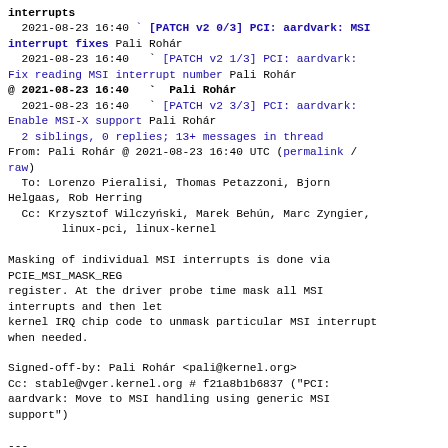interrupts
  2021-08-23 16:40 ` [PATCH v2 0/3] PCI: aardvark: MSI interrupt fixes Pali Rohár
  2021-08-23 16:40   ` [PATCH v2 1/3] PCI: aardvark: Fix reading MSI interrupt number Pali Rohár
@ 2021-08-23 16:40   ` Pali Rohár
  2021-08-23 16:40   ` [PATCH v2 3/3] PCI: aardvark: Enable MSI-X support Pali Rohár
  2 siblings, 0 replies; 13+ messages in thread
From: Pali Rohár @ 2021-08-23 16:40 UTC (permalink / raw)
  To: Lorenzo Pieralisi, Thomas Petazzoni, Bjorn Helgaas, Rob Herring
  Cc: Krzysztof Wilczyński, Marek Behún, Marc Zyngier,
      linux-pci, linux-kernel

Masking of individual MSI interrupts is done via PCIE_MSI_MASK_REG
register. At the driver probe time mask all MSI interrupts and then let
kernel IRQ chip code to unmask particular MSI interrupt when needed.

Signed-off-by: Pali Rohár <pali@kernel.org>
Cc: stable@vger.kernel.org # f21a8b1b6837 ("PCI: aardvark: Move to MSI handling using generic MSI support")

---
Changes in v2:
* Guard register updates by rcu_spin_lock